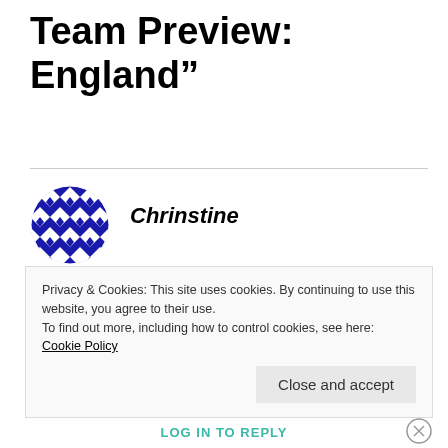Team Preview: England”
Chrinstine
JULY 24, 2016 AT 6:04 AM
I am sure this post has touched all the internet visitors, its really really pleasant paragraph on building up new
Privacy & Cookies: This site uses cookies. By continuing to use this website, you agree to their use.
To find out more, including how to control cookies, see here: Cookie Policy
Close and accept
LOG IN TO REPLY